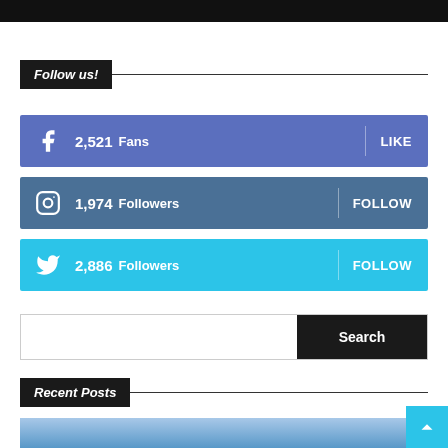[Figure (other): Black banner bar at top of page]
Follow us!
2,521  Fans   LIKE
1,974  Followers   FOLLOW
2,886  Followers   FOLLOW
Search
Recent Posts
[Figure (photo): Bottom image strip - blue gradient photo]
[Figure (other): Back to top cyan button with upward arrow]